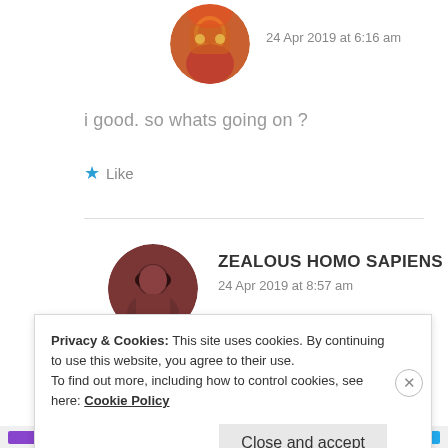[Figure (photo): Round avatar of a person in colorful traditional dress, partially visible at top]
24 Apr 2019 at 6:16 am
i good. so whats going on ?
★ Like
[Figure (photo): Round avatar of a person with dark hair, reddish-brown toned photo]
ZEALOUS HOMO SAPIENS
24 Apr 2019 at 8:57 am
Privacy & Cookies: This site uses cookies. By continuing to use this website, you agree to their use.
To find out more, including how to control cookies, see here: Cookie Policy
Close and accept